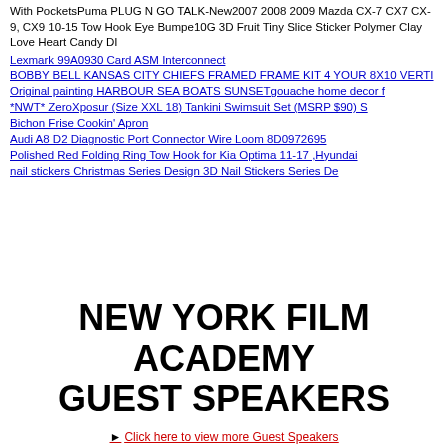With PocketsPuma PLUG N GO TALK-New2007 2008 2009 Mazda CX-7 CX7 CX-9, CX9 10-15 Tow Hook Eye Bumpe10G 3D Fruit Tiny Slice Sticker Polymer Clay Love Heart Candy DI
Lexmark 99A0930 Card ASM Interconnect
BOBBY BELL KANSAS CITY CHIEFS FRAMED FRAME KIT 4 YOUR 8X10 VERTI
Original painting HARBOUR SEA BOATS SUNSETgouache home decor f
*NWT* ZeroXposur (Size XXL 18) Tankini Swimsuit Set (MSRP $90) S
Bichon Frise Cookin' Apron
Audi A8 D2 Diagnostic Port Connector Wire Loom 8D0972695
Polished Red Folding Ring Tow Hook for Kia Optima 11-17 ,Hyundai
nail stickers Christmas Series Design 3D Nail Stickers Series De
NEW YORK FILM ACADEMY GUEST SPEAKERS
► Click here to view more Guest Speakers